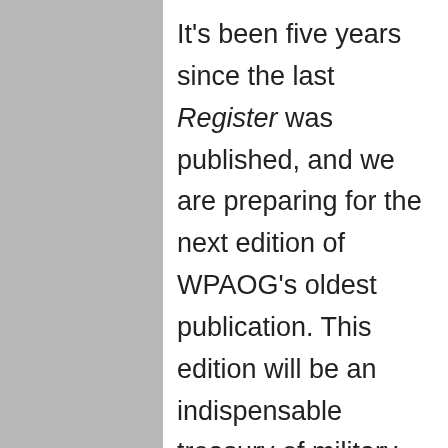It's been five years since the last Register was published, and we are preparing for the next edition of WPAOG's oldest publication. This edition will be an indispensable treasury of military history, with individual entries recording the names, classes and careers of every West Point graduate from 1802 to the present. Your career biography should contain as a minimum your military assignments and decorations, and can also include your career after the military. You can help make this issue as up-to-date as possible – just login and update your Register entry at